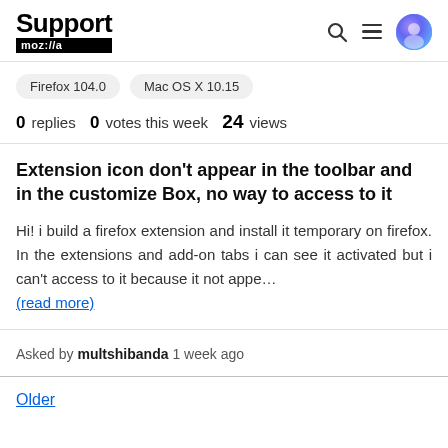Support mozilla://a
Firefox 104.0
Mac OS X 10.15
0 replies  0 votes this week  24 views
Extension icon don't appear in the toolbar and in the customize Box, no way to access to it
Hi! i build a firefox extension and install it temporary on firefox. In the extensions and add-on tabs i can see it activated but i can't access to it because it not appe... (read more)
Asked by multshibanda 1 week ago
Older